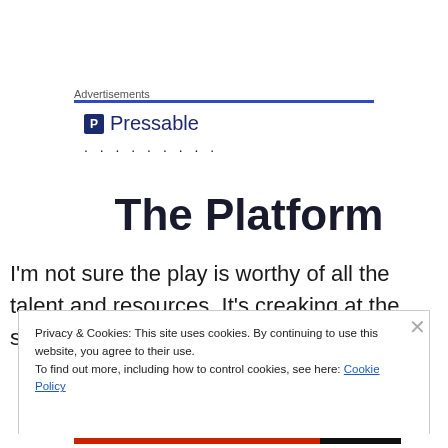Advertisements
[Figure (logo): Pressable logo with blue square icon containing letter P and text Pressable, followed by a row of dots]
The Platform
I'm not sure the play is worthy of all the talent and resources. It's creaking at the seams a bit and as much as
Privacy & Cookies: This site uses cookies. By continuing to use this website, you agree to their use.
To find out more, including how to control cookies, see here: Cookie Policy
Close and accept